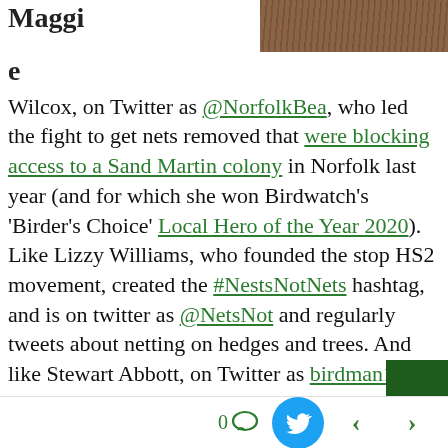[Figure (photo): Partial view of top of page: left white area showing bold text 'Maggi' and right side shows a brown fur/feather texture image strip]
e
Wilcox, on Twitter as @NorfolkBea, who led the fight to get nets removed that were blocking access to a Sand Martin colony in Norfolk last year (and for which she won Birdwatch's 'Birder's Choice' Local Hero of the Year 2020). Like Lizzy Williams, who founded the stop HS2 movement, created the #NestsNotNets hashtag, and is on twitter as @NetsNot and regularly tweets about netting on hedges and trees. And like Stewart Abbott, on Twitter as birdman1066, a self-described 'ordinary birder' who travels at his own expense to make videos of nets, has been promoting an interactive google map showing the location of nets on hedg
0  [comment icon]  [Twitter icon]  <  >